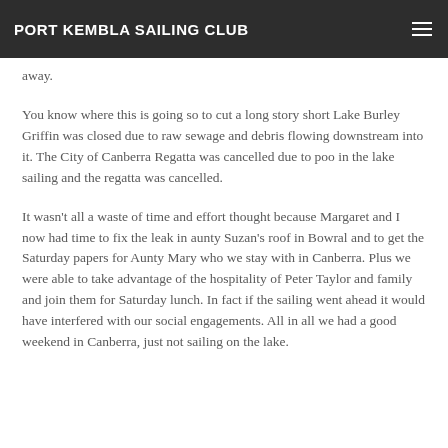PORT KEMBLA SAILING CLUB
away.
You know where this is going so to cut a long story short Lake Burley Griffin was closed due to raw sewage and debris flowing downstream into it. The City of Canberra Regatta was cancelled due to poo in the lake sailing and the regatta was cancelled.
It wasn't all a waste of time and effort thought because Margaret and I now had time to fix the leak in aunty Suzan's roof in Bowral and to get the Saturday papers for Aunty Mary who we stay with in Canberra. Plus we were able to take advantage of the hospitality of Peter Taylor and family and join them for Saturday lunch. In fact if the sailing went ahead it would have interfered with our social engagements. All in all we had a good weekend in Canberra, just not sailing on the lake.